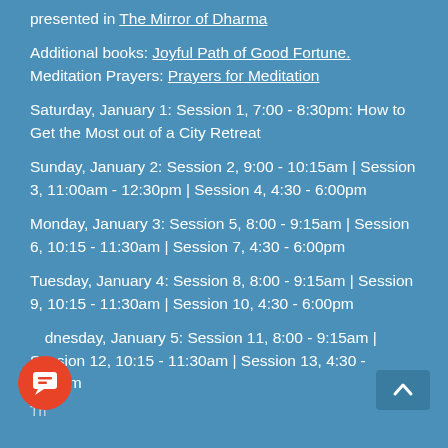presented in The Mirror of Dharma
Additional books: Joyful Path of Good Fortune.
Meditation Prayers: Prayers for Meditation
Saturday, January 1: Session 1, 7:00 - 8:30pm: How to Get the Most out of a City Retreat
Sunday, January 2: Session 2, 9:00 - 10:15am | Session 3, 11:00am - 12:30pm | Session 4, 4:30 - 6:00pm
Monday, January 3: Session 5, 8:00 - 9:15am | Session 6, 10:15 - 11:30am | Session 7, 4:30 - 6:00pm
Tuesday, January 4: Session 8, 8:00 - 9:15am | Session 9, 10:15 - 11:30am | Session 10, 4:30 - 6:00pm
Wednesday, January 5: Session 11, 8:00 - 9:15am | Session 12, 10:15 - 11:30am | Session 13, 4:30 - 6:00pm
Thursday, January 6: Session ...